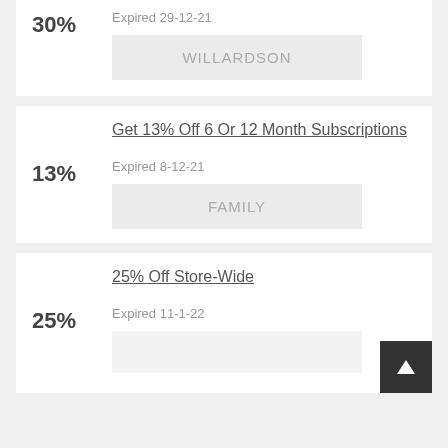30%
Expired 29-12-21
WILLARDSON
Get 13% Off 6 Or 12 Month Subscriptions
13%
Expired 8-12-21
FAMILY
25% Off Store-Wide
25%
Expired 11-1-22